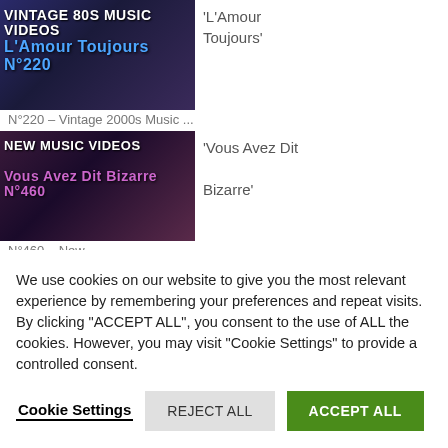[Figure (screenshot): Thumbnail for VINTAGE 80S MUSIC VIDEOS L'Amour Toujours N°220 - blue toned video thumbnail]
'L'Amour Toujours'
N°220 – Vintage 2000s Music ...
[Figure (screenshot): Thumbnail for NEW MUSIC VIDEOS Vous Avez Dit Bizarre N°460 - purple/pink toned video thumbnail]
'Vous Avez Dit Bizarre'
N°460 – New ...
[Figure (screenshot): Thumbnail for VINTAGE 80S MUSIC VIDEOS L'Amour Toujours N°415 - red/pink toned video thumbnail]
'L'Amour
We use cookies on our website to give you the most relevant experience by remembering your preferences and repeat visits. By clicking "ACCEPT ALL", you consent to the use of ALL the cookies. However, you may visit "Cookie Settings" to provide a controlled consent.
Cookie Settings
REJECT ALL
ACCEPT ALL